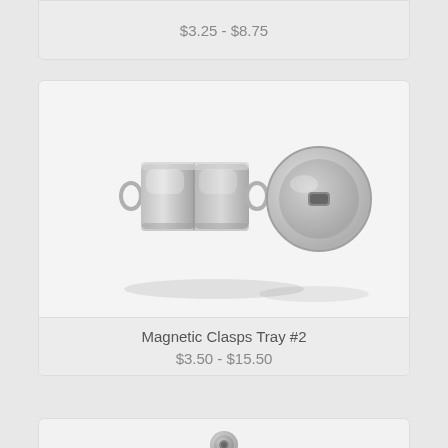$3.25 - $8.75
[Figure (photo): Two silver magnetic barrel clasps shown side by side — one in profile showing the two-piece barrel connected design with wire loops, one from the front showing the circular face with center hole]
Magnetic Clasps Tray #2
$3.50 - $15.50
[Figure (photo): Partial view of another product card showing a small silver ring/clasp component at the bottom edge]